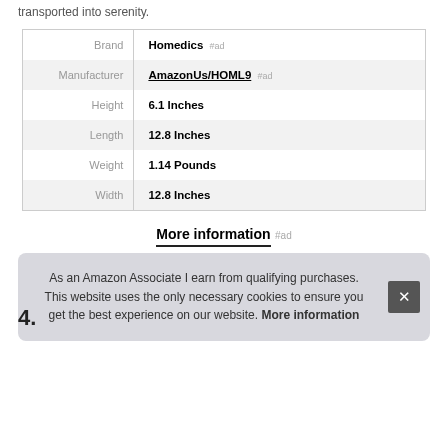transported into serenity.
|  |  |
| --- | --- |
| Brand | Homedics #ad |
| Manufacturer | AmazonUs/HOML9 #ad |
| Height | 6.1 Inches |
| Length | 12.8 Inches |
| Weight | 1.14 Pounds |
| Width | 12.8 Inches |
More information #ad
As an Amazon Associate I earn from qualifying purchases. This website uses the only necessary cookies to ensure you get the best experience on our website. More information